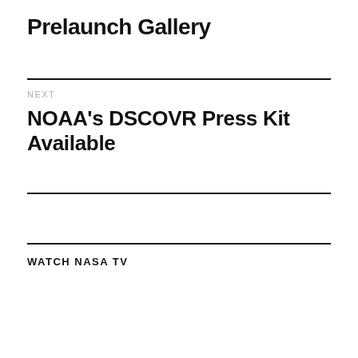Prelaunch Gallery
NEXT
NOAA's DSCOVR Press Kit Available
WATCH NASA TV